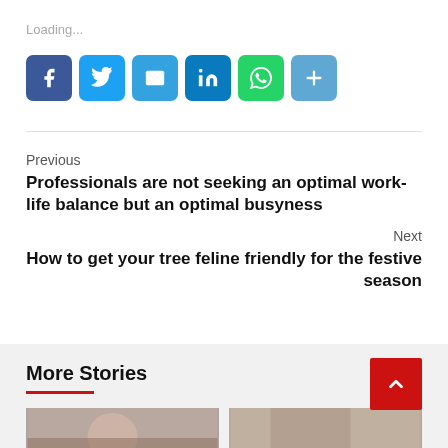Loading...
[Figure (infographic): Social share buttons: Facebook, Twitter, Email, LinkedIn, WhatsApp, Share (plus icon)]
Previous
Professionals are not seeking an optimal work-life balance but an optimal busyness
Next
How to get your tree feline friendly for the festive season
More Stories
[Figure (photo): Thumbnail photo left]
[Figure (photo): Thumbnail photo right]